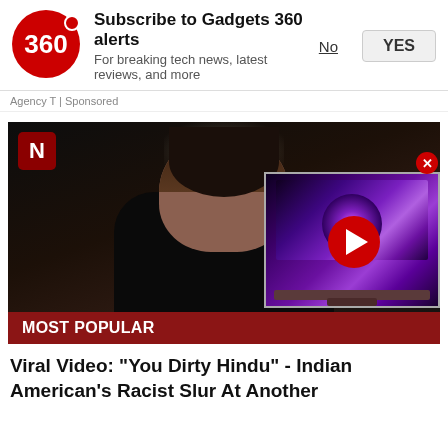[Figure (screenshot): Gadgets 360 logo - red circle with '360' text and a red dot to the upper right]
Subscribe to Gadgets 360 alerts
For breaking tech news, latest reviews, and more
No
YES
Agency T | Sponsored
[Figure (screenshot): Video thumbnail showing a bearded man in dark clothing. Newsweek 'N' badge in top left. Overlay in bottom right shows a TV with galaxy image and red play button. Close (X) button on overlay. 'MOST POPULAR' label at bottom.]
Viral Video: "You Dirty Hindu" - Indian American's Racist Slur At Another